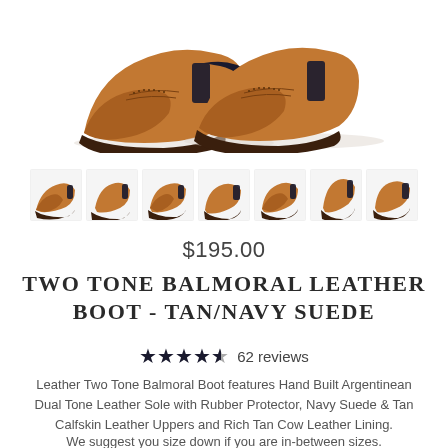[Figure (photo): Main product photo of tan leather balmoral boots from above/side angle on white background]
[Figure (photo): Row of 7 thumbnail images showing different angles of the Two Tone Balmoral Leather Boot in Tan/Navy Suede]
$195.00
TWO TONE BALMORAL LEATHER BOOT - TAN/NAVY SUEDE
★★★★☆ 62 reviews
Leather Two Tone Balmoral Boot features Hand Built Argentinean Dual Tone Leather Sole with Rubber Protector, Navy Suede & Tan Calfskin Leather Uppers and Rich Tan Cow Leather Lining.
We suggest you size down if you are in-between sizes.